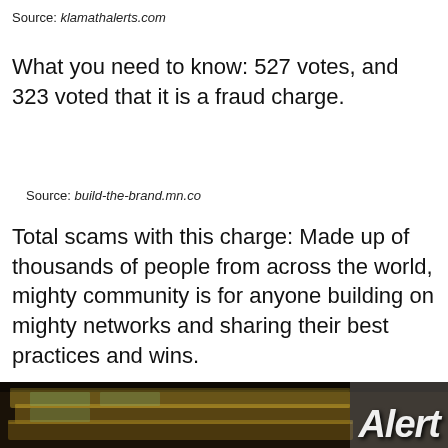Source: klamathalerts.com
What you need to know: 527 votes, and 323 voted that it is a fraud charge.
Source: build-the-brand.mn.co
Total scams with this charge: Made up of thousands of people from across the world, mighty community is for anyone building on mighty networks and sharing their best practices and wins.
[Figure (photo): Photo of stacks of US dollar bills with 'Alert' text overlay in bold italic white font at bottom right]